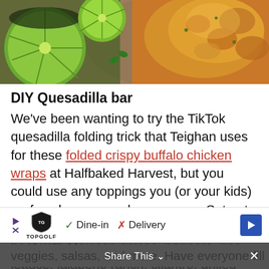[Figure (photo): Food photo showing lime slices in a dark bowl on the left, and crispy golden quesadilla/chicken wrap on the right, on a stone surface]
DIY Quesadilla bar
We've been wanting to try the TikTok quesadilla folding trick that Teighan uses for these folded crispy buffalo chicken wraps at Halfbaked Harvest, but you could use any toppings you (or your kids) prefer when you make your own. Set out ingredients like grilled chicken, ground beef with Mexican spices, peppers, rice, lettuce, jalapeño ranch, cilantro, grilled onions, diced tomatoes, or anything else you like on your own... when ma... veggies, salsas, and more. Have everyone fill and fold their own, then bring them to heat on
[Figure (other): Advertisement banner for Topgolf showing Dine-in and Delivery options with a navigation arrow icon]
Share This ×